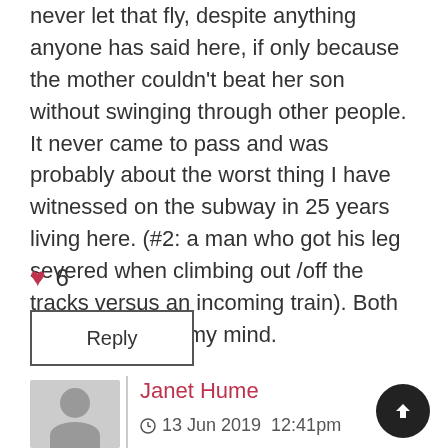never let that fly, despite anything anyone has said here, if only because the mother couldn't beat her son without swinging through other people. It never came to pass and was probably about the worst thing I have witnessed on the subway in 25 years living here. (#2: a man who got his leg severed when climbing out /off the tracks versus an incoming train). Both pretty seared in my mind.
❤ 6
Reply
[Figure (illustration): Gray avatar placeholder showing a person silhouette with head and body]
Janet Hume
13 Jun 2019  12:41pm